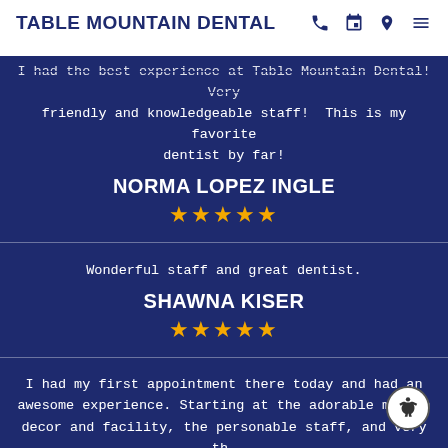TABLE MOUNTAIN DENTAL
I had the best experience at Table Mountain Dental! Very friendly and knowledgeable staff! This is my favorite dentist by far!
NORMA LOPEZ INGLE
★★★★★
Wonderful staff and great dentist.
SHAWNA KISER
★★★★★
I had my first appointment there today and had an awesome experience. Starting at the adorable modern decor and facility, the personable staff, and very th… dentist. I believe they have my best interest at heart, and